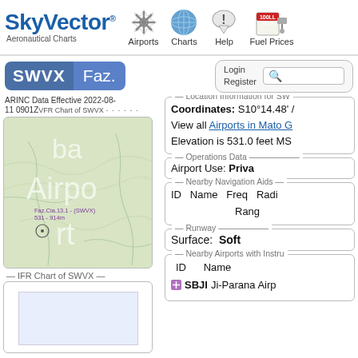SkyVector® Aeronautical Charts — Airports | Charts | Help | Fuel Prices
SWVX Faz.
ARINC Data Effective 2022-08-11 0901Z VFR Chart of SWVX
[Figure (map): VFR aeronautical chart map showing Faz.Cia.13.1 - (SWVX) airport location, elevation 531 - 914m, green terrain background with white waterway lines]
IFR Chart of SWVX
[Figure (map): IFR chart of SWVX showing airport diagram with light blue background]
Location Information for SW
Coordinates: S10°14.48' /
View all Airports in Mato G
Elevation is 531.0 feet MS
Operations Data
Airport Use: Priva
Nearby Navigation Aids
ID  Name  Freq  Radi
                    Rang
Runway
Surface: Soft
Nearby Airports with Instru
ID     Name
SBJI  Ji-Parana Airp